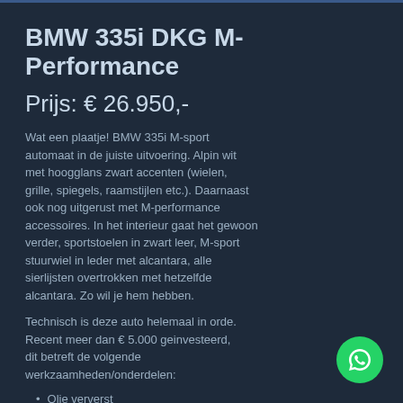BMW 335i DKG M-Performance
Prijs:  € 26.950,-
Wat een plaatje! BMW 335i M-sport automaat in de juiste uitvoering. Alpin wit met hoogglans zwart accenten (wielen, grille, spiegels, raamstijlen etc.). Daarnaast ook nog uitgerust met M-performance accessoires. In het interieur gaat het gewoon verder, sportstoelen in zwart leer, M-sport stuurwiel in leder met alcantara, alle sierlijsten overtrokken met hetzelfde alcantara. Zo wil je hem hebben.
Technisch is deze auto helemaal in orde. Recent meer dan € 5.000 geinvesteerd, dit betreft de volgende werkzaamheden/onderdelen:
Olie ververst